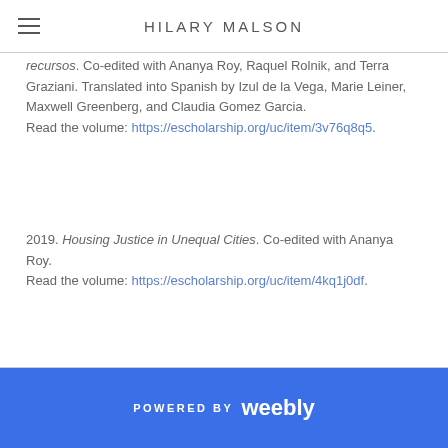HILARY MALSON
recursos. Co-edited with Ananya Roy, Raquel Rolnik, and Terra Graziani. Translated into Spanish by Izul de la Vega, Marie Leiner, Maxwell Greenberg, and Claudia Gomez Garcia.
Read the volume: https://escholarship.org/uc/item/3v76q8q5.
2019. Housing Justice in Unequal Cities. Co-edited with Ananya Roy.
Read the volume: https://escholarship.org/uc/item/4kq1j0df.
POWERED BY weebly